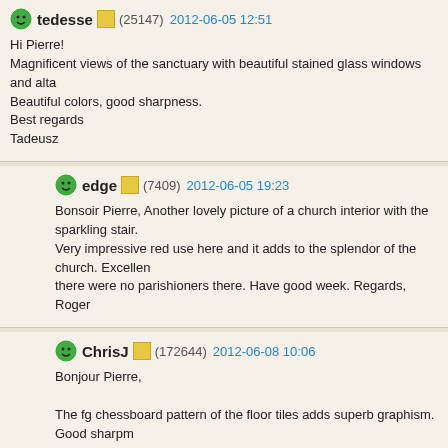tedesse (25147) 2012-06-05 12:51
Hi Pierre!
Magnificent views of the sanctuary with beautiful stained glass windows and alta
Beautiful colors, good sharpness.
Best regards
Tadeusz
edge (7409) 2012-06-05 19:23
Bonsoir Pierre, Another lovely picture of a church interior with the sparkling stair.
Very impressive red use here and it adds to the splendor of the church. Excellen
there were no parishioners there. Have good week. Regards, Roger
ChrisJ (172644) 2012-06-08 10:06
Bonjour Pierre,

The fg chessboard pattern of the floor tiles adds superb graphism. Good sharpm
lighting. Wonderful use of frontal linear perspective with all lines converging tow
and the stained glass windows are almost but not quite correctly exposed. Easy
photoshop. Bon weekend!
Angshu (56760) 2012-06-08 22:17